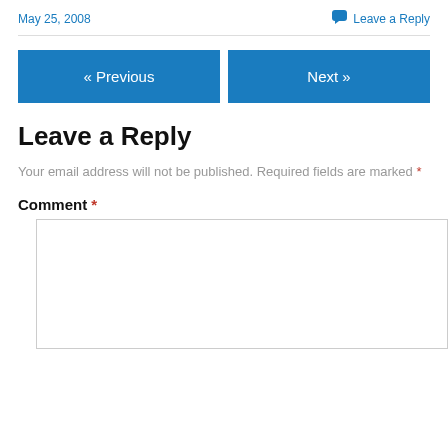May 25, 2008
Leave a Reply
« Previous
Next »
Leave a Reply
Your email address will not be published. Required fields are marked *
Comment *